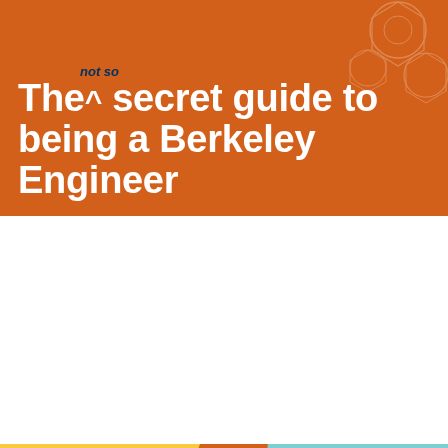[Figure (illustration): Orange background cover with geometric circular pattern in top-right corner. Large white bold text reads 'The not so secret guide to being a Berkeley Engineer' with 'not so' in smaller italic navy text inserted above 'secret'.]
[Figure (photo): Colorful banner with orange, yellow, and teal panels and large decorative letters. Photo of two Asian female students studying/smiling. Cyan banner reads 'UNDERGRADUATES' with yellow text below: 'Tell us about life at UC Berkeley and win prizes!']